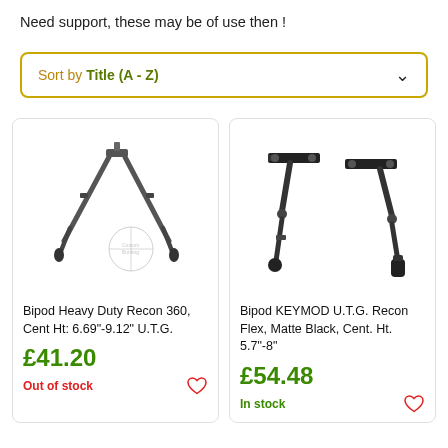Need support, these may be of use then !
Sort by Title (A - Z)
[Figure (photo): Bipod Heavy Duty Recon 360 product photo with crosshair watermark]
Bipod Heavy Duty Recon 360, Cent Ht: 6.69"-9.12" U.T.G.
£41.20
Out of stock
[Figure (photo): Bipod KEYMOD U.T.G. Recon Flex product photo]
Bipod KEYMOD U.T.G. Recon Flex, Matte Black, Cent. Ht. 5.7"-8"
£54.48
In stock